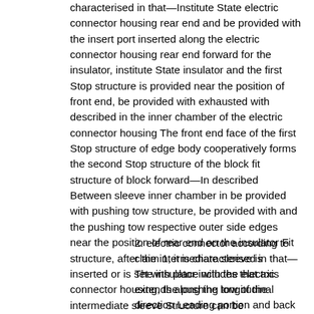characterised in that—Institute State electric connector housing rear end and be provided with the insert port inserted along the electric connector housing rear end forward for the insulator, institute State insulator and the first Stop structure is provided near the position of front end, be provided with exhausted with described in the inner chamber of the electric connector housing The front end face of the first Stop structure of edge body cooperatively forms the second Stop structure of the block fit structure of block forward—In described Between sleeve inner chamber in be provided with pushing tow structure, be provided with and the pushing tow respective outer side edges near the position of rear end on the insulator Fit structure, after the intermediate sleeve is inserted or is set with place with the electric connector housing, the pushing tow of the intermediate sleeve Structure can be coordinated with the rear end face pushing tow of the fit structure of the insulator, and pass through second Stop structure by insulator It is clamped in the electric connector housing.
2. electric connector according to claim 1, it is characterised in that—The insulator includes that axis extends along the longitudinal direction Leading portion and back segment, and the external diameter of leading